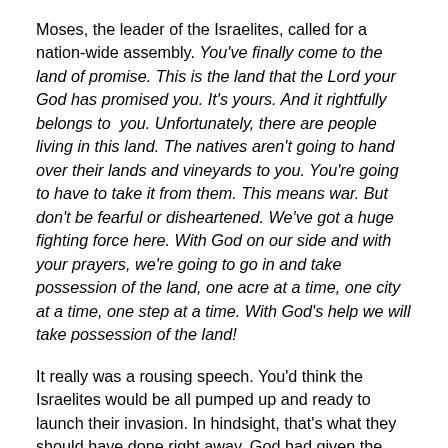Moses, the leader of the Israelites, called for a nation-wide assembly. You've finally come to the land of promise. This is the land that the Lord your God has promised you. It's yours. And it rightfully belongs to you. Unfortunately, there are people living in this land. The natives aren't going to hand over their lands and vineyards to you. You're going to have to take it from them. This means war. But don't be fearful or disheartened. We've got a huge fighting force here. With God on our side and with your prayers, we're going to go in and take possession of the land, one acre at a time, one city at a time, one step at a time. With God's help we will take possession of the land!
It really was a rousing speech. You'd think the Israelites would be all pumped up and ready to launch their invasion. In hindsight, that's what they should have done right away. God had given the marching order. The battle...